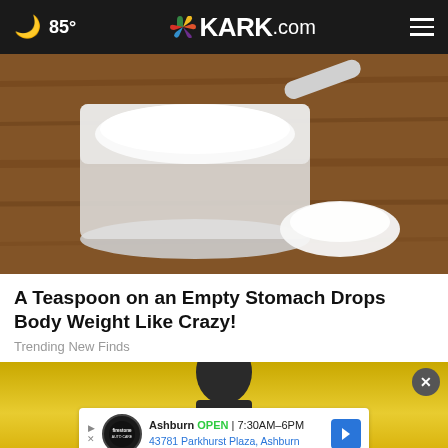85° KARK.com
[Figure (photo): A measuring cup filled with white powder (likely protein powder or flour) on a wooden surface, with a small pile of the powder spilled beside it.]
A Teaspoon on an Empty Stomach Drops Body Weight Like Crazy!
Trending New Finds
[Figure (photo): Advertisement showing a person's face with a Firestone Auto Care banner at the bottom. Ad reads: Ashburn OPEN | 7:30AM–6PM, 43781 Parkhurst Plaza, Ashburn]